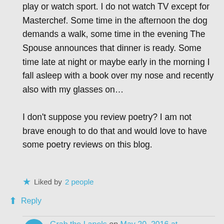play or watch sport. I do not watch TV except for Masterchef. Some time in the afternoon the dog demands a walk, some time in the evening The Spouse announces that dinner is ready. Some time late at night or maybe early in the morning I fall asleep with a book over my nose and recently also with my glasses on… I don't suppose you review poetry? I am not brave enough to do that and would love to have some poetry reviews on this blog.
Liked by 2 people
Reply
Grab the Lapels on May 20, 2016 at